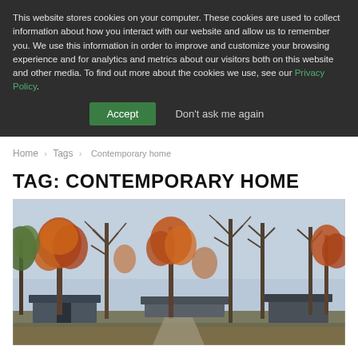This website stores cookies on your computer. These cookies are used to collect information about how you interact with our website and allow us to remember you. We use this information in order to improve and customize your browsing experience and for analytics and metrics about our visitors both on this website and other media. To find out more about the cookies we use, see our Privacy Policy.
Accept
Don't ask me again
Home › Tags › Contemporary home
TAG: CONTEMPORARY HOME
[Figure (photo): Autumn landscape with tall trees displaying orange and red foliage, bare-branched trees, and a low contemporary home visible in the background on a cloudy day.]